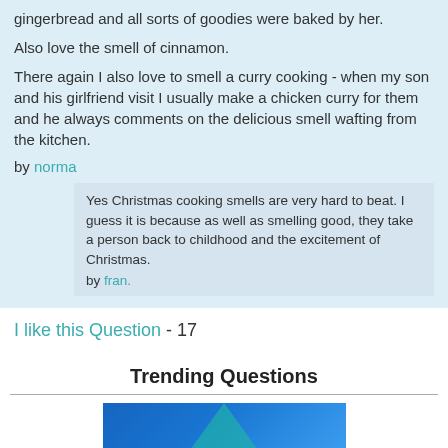gingerbread and all sorts of goodies were baked by her.
Also love the smell of cinnamon.
There again I also love to smell a curry cooking - when my son and his girlfriend visit I usually make a chicken curry for them and he always comments on the delicious smell wafting from the kitchen.
by norma
Yes Christmas cooking smells are very hard to beat. I guess it is because as well as smelling good, they take a person back to childhood and the excitement of Christmas. by fran.
I like this Question - 17
Trending Questions
[Figure (photo): Blue background with teal/green triangular shape, partial image of a trending question thumbnail]